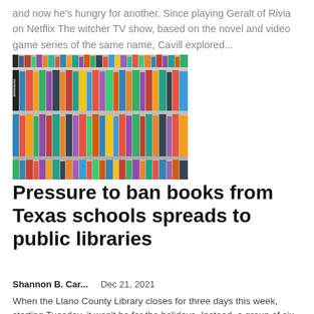and now he's hungry for another. Since playing Geralt of Rivia on Netflix The witcher TV show, based on the novel and video game series of the same name, Cavill explored...
[Figure (photo): Shelves of books in a library, viewed at an angle, with colorful spines visible on multiple rows of shelving.]
Pressure to ban books from Texas schools spreads to public libraries
Shannon B. Car...    Dec 21, 2021
When the Llano County Library closes for three days this week, starting Tuesday, it won't be for the holidays. Instead, a group of six